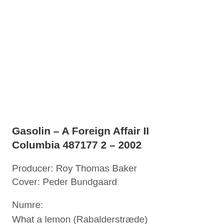Gasolin – A Foreign Affair II
Columbia 487177 2 – 2002
Producer: Roy Thomas Baker
Cover: Peder Bundgaard
Numre:
What a lemon (Rabalderstræde)
Fatherless Hill
Lonesome avenue